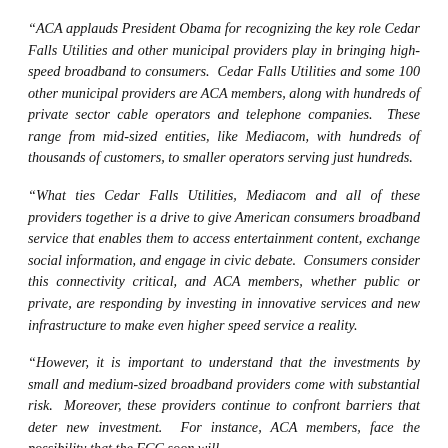“ACA applauds President Obama for recognizing the key role Cedar Falls Utilities and other municipal providers play in bringing high-speed broadband to consumers.  Cedar Falls Utilities and some 100 other municipal providers are ACA members, along with hundreds of private sector cable operators and telephone companies.  These range from mid-sized entities, like Mediacom, with hundreds of thousands of customers, to smaller operators serving just hundreds.
“What ties Cedar Falls Utilities, Mediacom and all of these providers together is a drive to give American consumers broadband service that enables them to access entertainment content, exchange social information, and engage in civic debate.  Consumers consider this connectivity critical, and ACA members, whether public or private, are responding by investing in innovative services and new infrastructure to make even higher speed service a reality.
“However, it is important to understand that the investments by small and medium-sized broadband providers come with substantial risk.  Moreover, these providers continue to confront barriers that deter new investment.  For instance, ACA members, face the possibility that the FCC soon will